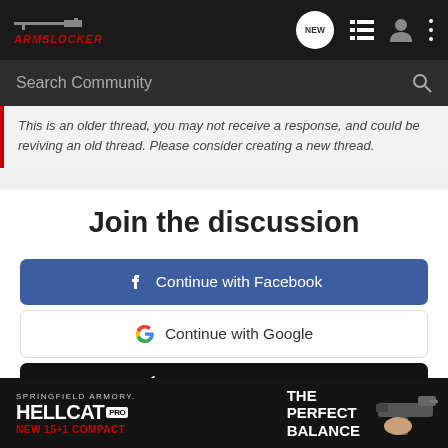[Figure (screenshot): ArmsLocker website header with logo, navigation icons (NEW, list, user, menu)]
Search Community
This is an older thread, you may not receive a response, and could be reviving an old thread. Please consider creating a new thread.
Join the discussion
Continue with Facebook
Continue with Google
Continue with Apple
or sign up with email
[Figure (photo): Springfield Armory Hellcat Pro advertisement banner — NEW 15+1 COMPACT, THE PERFECT BALANCE, with gun image]